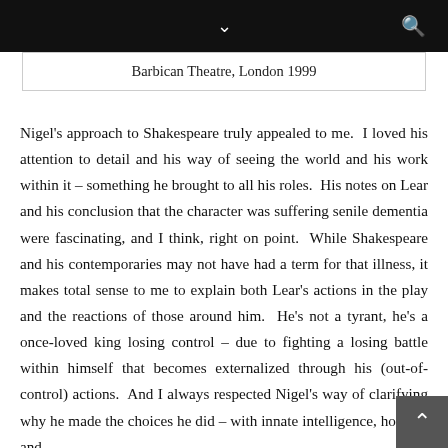Barbican Theatre, London 1999
Nigel's approach to Shakespeare truly appealed to me. I loved his attention to detail and his way of seeing the world and his work within it – something he brought to all his roles. His notes on Lear and his conclusion that the character was suffering senile dementia were fascinating, and I think, right on point. While Shakespeare and his contemporaries may not have had a term for that illness, it makes total sense to me to explain both Lear's actions in the play and the reactions of those around him. He's not a tyrant, he's a once-loved king losing control – due to fighting a losing battle within himself that becomes externalized through his (out-of-control) actions. And I always respected Nigel's way of clarifying why he made the choices he did – with innate intelligence, honesty and